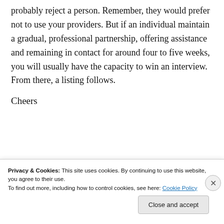probably reject a person. Remember, they would prefer not to use your providers. But if an individual maintain a gradual, professional partnership, offering assistance and remaining in contact for around four to five weeks, you will usually have the capacity to win an interview. From there, a listing follows.
Cheers
Privacy & Cookies: This site uses cookies. By continuing to use this website, you agree to their use. To find out more, including how to control cookies, see here: Cookie Policy
Close and accept